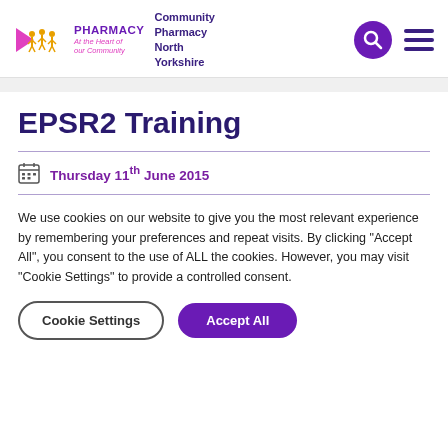[Figure (logo): Community Pharmacy North Yorkshire logo with pharmacy figures and text]
EPSR2 Training
Thursday 11th June 2015
We use cookies on our website to give you the most relevant experience by remembering your preferences and repeat visits. By clicking "Accept All", you consent to the use of ALL the cookies. However, you may visit "Cookie Settings" to provide a controlled consent.
Cookie Settings | Accept All